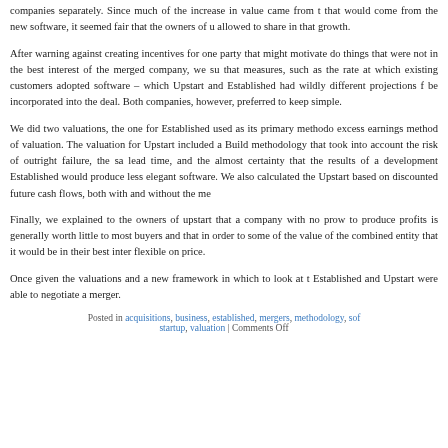companies separately. Since much of the increase in value came from the that would come from the new software, it seemed fair that the owners of u allowed to share in that growth.
After warning against creating incentives for one party that might motivate do things that were not in the best interest of the merged company, we su that measures, such as the rate at which existing customers adopted software – which Upstart and Established had wildly different projections f be incorporated into the deal. Both companies, however, preferred to keep simple.
We did two valuations, the one for Established used as its primary methodo excess earnings method of valuation. The valuation for Upstart included a Build methodology that took into account the risk of outright failure, the sa lead time, and the almost certainty that the results of a development Established would produce less elegant software. We also calculated the Upstart based on discounted future cash flows, both with and without the me
Finally, we explained to the owners of upstart that a company with no prow to produce profits is generally worth little to most buyers and that in order to some of the value of the combined entity that it would be in their best inter flexible on price.
Once given the valuations and a new framework in which to look at t Established and Upstart were able to negotiate a merger.
Posted in acquisitions, business, established, mergers, methodology, software, startup, valuation | Comments Off